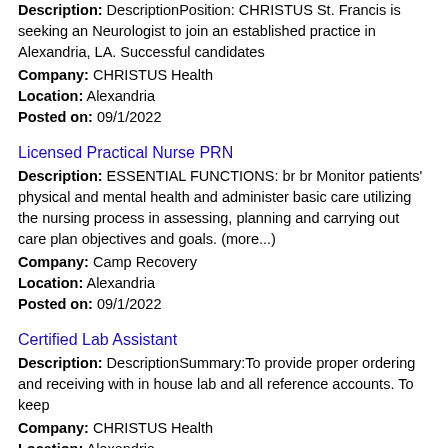Description: DescriptionPosition: CHRISTUS St. Francis is seeking an Neurologist to join an established practice in Alexandria, LA. Successful candidates
Company: CHRISTUS Health
Location: Alexandria
Posted on: 09/1/2022
Licensed Practical Nurse PRN
Description: ESSENTIAL FUNCTIONS: br br Monitor patients' physical and mental health and administer basic care utilizing the nursing process in assessing, planning and carrying out care plan objectives and goals. (more...)
Company: Camp Recovery
Location: Alexandria
Posted on: 09/1/2022
Certified Lab Assistant
Description: DescriptionSummary:To provide proper ordering and receiving with in house lab and all reference accounts. To keep
Company: CHRISTUS Health
Location: Alexandria
Posted on: 09/1/2022
Clinical Lab Scientist